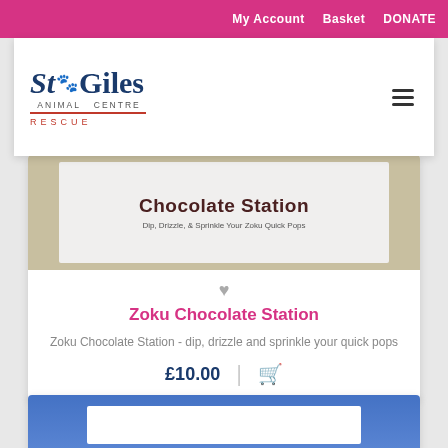My Account  Basket  DONATE
[Figure (logo): St Giles Animal Centre Rescue logo with paw print]
[Figure (photo): Chocolate Station product image showing a sign reading 'Chocolate Station - Dip, Drizzle, & Sprinkle Your Zoku Quick Pops']
Zoku Chocolate Station
Zoku Chocolate Station - dip, drizzle and sprinkle your quick pops
£10.00
[Figure (photo): Partial view of second product card with blue background]